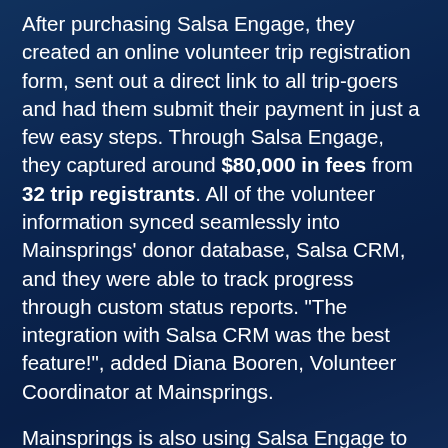After purchasing Salsa Engage, they created an online volunteer trip registration form, sent out a direct link to all trip-goers and had them submit their payment in just a few easy steps. Through Salsa Engage, they captured around $80,000 in fees from 32 trip registrants. All of the volunteer information synced seamlessly into Mainsprings' donor database, Salsa CRM, and they were able to track progress through custom status reports. "The integration with Salsa CRM was the best feature!", added Diana Booren, Volunteer Coordinator at Mainsprings.
Mainsprings is also using Salsa Engage to